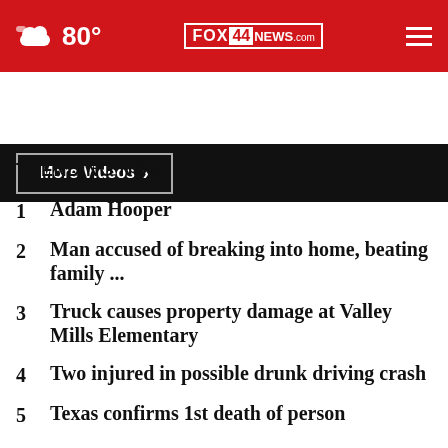80° FOX 44 NEWS.com
[Figure (screenshot): More Videos button on dark background]
TRENDING NOW
1 Adam Hooper
2 Man accused of breaking into home, beating family ...
3 Truck causes property damage at Valley Mills Elementary
4 Two injured in possible drunk driving crash
5 Texas confirms 1st death of person